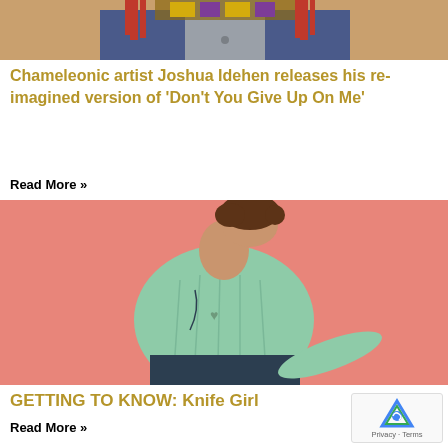[Figure (photo): Top portion of a person wearing colorful headdress with red tassels and decorated garments, partially cropped]
Chameleonic artist Joshua Idehen releases his re-imagined version of ‘Don’t You Give Up On Me’
Read More »
[Figure (photo): Young person with curly hair leaning back, wearing a mint green knit sweater with graphic print, against a pink/salmon background, wearing dark jeans]
GETTING TO KNOW: Knife Girl
Read More »